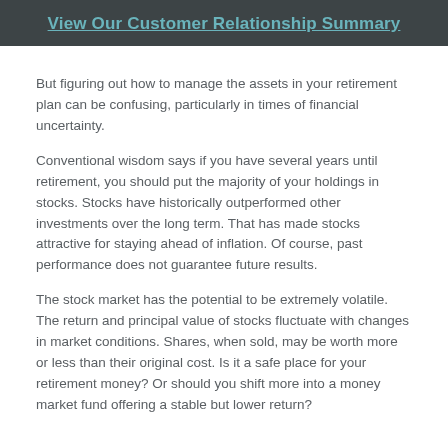View Our Customer Relationship Summary
But figuring out how to manage the assets in your retirement plan can be confusing, particularly in times of financial uncertainty.
Conventional wisdom says if you have several years until retirement, you should put the majority of your holdings in stocks. Stocks have historically outperformed other investments over the long term. That has made stocks attractive for staying ahead of inflation. Of course, past performance does not guarantee future results.
The stock market has the potential to be extremely volatile. The return and principal value of stocks fluctuate with changes in market conditions. Shares, when sold, may be worth more or less than their original cost. Is it a safe place for your retirement money? Or should you shift more into a money market fund offering a stable but lower return?